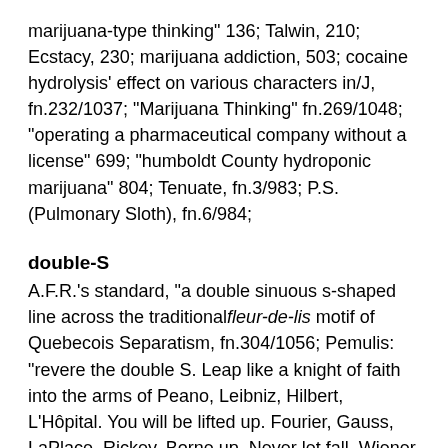marijuana-type thinking" 136; Talwin, 210; Ecstacy, 230; marijuana addiction, 503; cocaine hydrolysis' effect on various characters in/J, fn.232/1037; "Marijuana Thinking" fn.269/1048; "operating a pharmaceutical company without a license" 699; "humboldt County hydroponic marijuana" 804; Tenuate, fn.3/983; P.S. (Pulmonary Sloth), fn.6/984;
double-S
A.F.R.'s standard, "a double sinuous s-shaped line across the traditionalfleur-de-lis motif of Quebecois Separatism, fn.304/1056; Pemulis: "revere the double S. Leap like a knight of faith into the arms of Peano, Leibniz, Hilbert, L'Hôpital. You will be lifted up. Fourier, Gauss, LaPlace, Rickey. Borne up. Never let fall. Wiener, Reimann, Frege, Green" fn.324/1072;
Doucette, Anton ("The Boogerman")